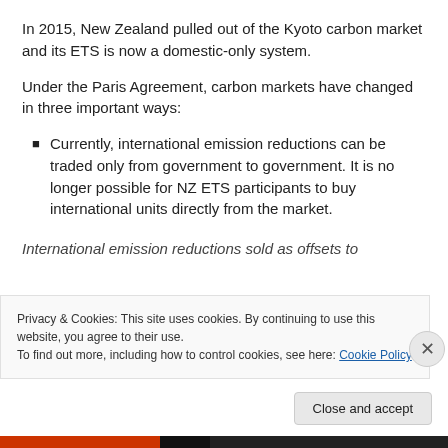In 2015, New Zealand pulled out of the Kyoto carbon market and its ETS is now a domestic-only system.
Under the Paris Agreement, carbon markets have changed in three important ways:
Currently, international emission reductions can be traded only from government to government. It is no longer possible for NZ ETS participants to buy international units directly from the market.
International emission reductions sold as offsets to...
Privacy & Cookies: This site uses cookies. By continuing to use this website, you agree to their use.
To find out more, including how to control cookies, see here: Cookie Policy
Close and accept